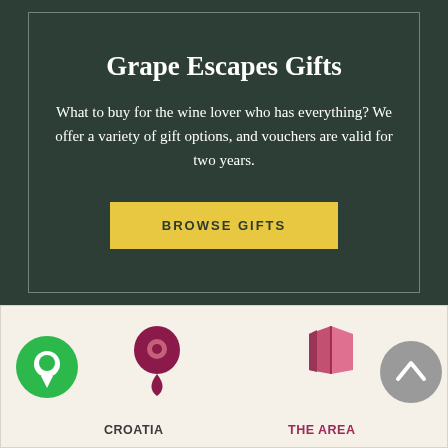Grape Escapes Gifts
What to buy for the wine lover who has everything? We offer a variety of gift options, and vouchers are valid for two years.
BROWSE GIFTS
[Figure (logo): Green circular chat/support icon]
[Figure (logo): Dark red/crimson location pin icon]
CROATIA
[Figure (logo): Dark pink/crimson map icon]
THE AREA
[Figure (other): Grey circular scroll-to-top button with upward chevron]